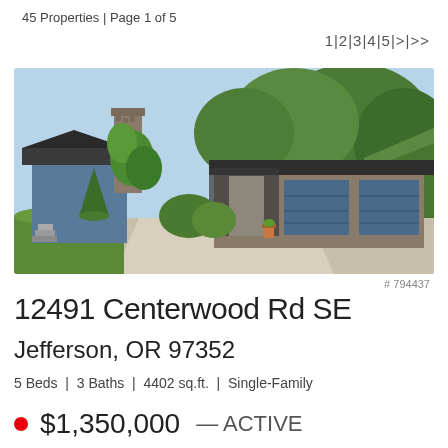45 Properties | Page 1 of 5
1|2|3|4|5|>|>>
[Figure (photo): Exterior photo of a blue ranch-style home with stone chimney, attached two-car garage, lush green trees and shrubs, concrete driveway]
# 794437
12491 Centerwood Rd SE
Jefferson, OR 97352
5 Beds | 3 Baths | 4402 sq.ft. | Single-Family
$1,350,000 — ACTIVE